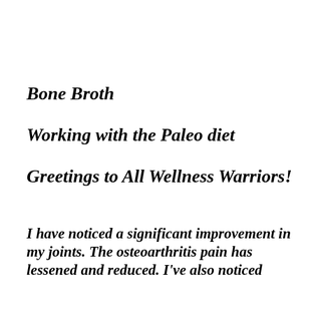Bone Broth
Working with the Paleo diet
Greetings to All Wellness Warriors!
I have noticed a significant improvement in my joints. The osteoarthritis pain has lessened and reduced. I've also noticed